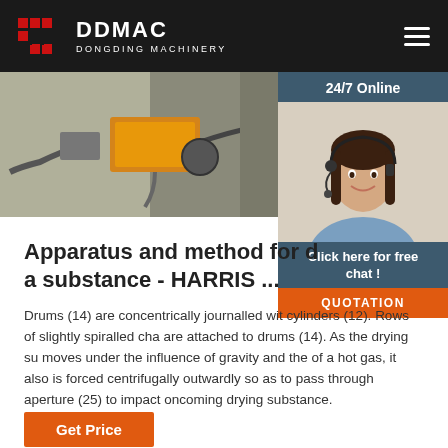DDMAC DONGDING MACHINERY
[Figure (photo): Industrial machinery equipment photo showing a yellow device mounted on a wall with hoses/cables]
[Figure (photo): 24/7 Online customer service representative - woman with headset smiling, with 'Click here for free chat!' and 'QUOTATION' button overlay]
Apparatus and method for d a substance - HARRIS ...
Drums (14) are concentrically journalled wit cylinders (12). Rows of slightly spiralled cha are attached to drums (14). As the drying su moves under the influence of gravity and the of a hot gas, it also is forced centrifugally outwardly so as to pass through aperture (25) to impact oncoming drying substance.
Get Price